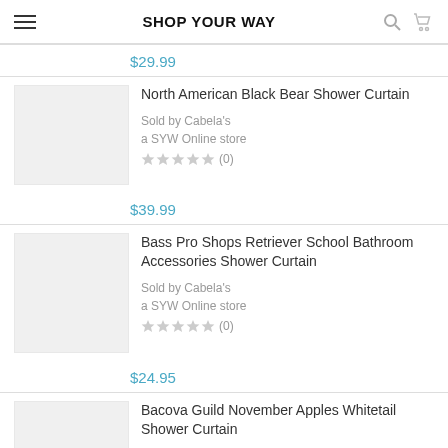SHOP YOUR WAY
$29.99
North American Black Bear Shower Curtain
Sold by Cabela's
a SYW Online store
★★★★★ (0)
$39.99
Bass Pro Shops Retriever School Bathroom Accessories Shower Curtain
Sold by Cabela's
a SYW Online store
★★★★★ (0)
$24.95
Bacova Guild November Apples Whitetail Shower Curtain
Sold by Cabela's